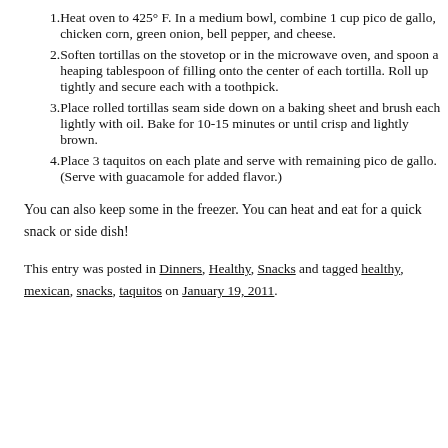Heat oven to 425° F.  In a medium bowl, combine 1 cup pico de gallo, chicken corn, green onion, bell pepper, and cheese.
Soften tortillas on the stovetop or in the microwave oven, and spoon a heaping tablespoon of filling onto the center of each tortilla.  Roll up tightly and secure each with a toothpick.
Place rolled tortillas seam side down on a baking sheet and brush each lightly with oil. Bake for 10-15 minutes or until crisp and lightly brown.
Place 3 taquitos on each plate and serve with remaining pico de gallo.   (Serve with guacamole for added flavor.)
You can also keep some in the freezer.  You can heat and eat for a quick snack or side dish!
This entry was posted in Dinners, Healthy, Snacks and tagged healthy, mexican, snacks, taquitos on January 19, 2011.